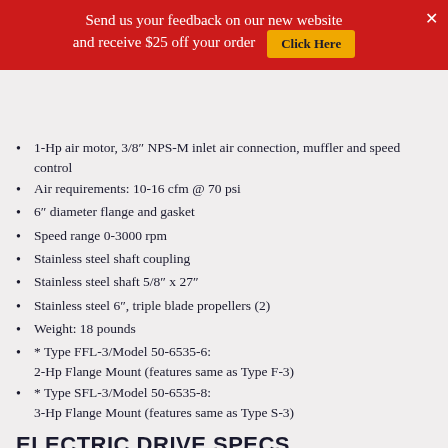Send us your feedback on our new website and receive $25 off your order  [Click Here]
1-Hp air motor, 3/8" NPS-M inlet air connection, muffler and speed control
Air requirements: 10-16 cfm @ 70 psi
6" diameter flange and gasket
Speed range 0-3000 rpm
Stainless steel shaft coupling
Stainless steel shaft 5/8" x 27"
Stainless steel 6", triple blade propellers (2)
Weight: 18 pounds
* Type FFL-3/Model 50-6535-6: 2-Hp Flange Mount (features same as Type F-3)
* Type SFL-3/Model 50-6535-8: 3-Hp Flange Mount (features same as Type S-3)
ELECTRIC DRIVE SPECS
1/4 to 2-Hp (determined by application)
TEFC, EXP, WASHDOWN, PAINT FREE RATINGS